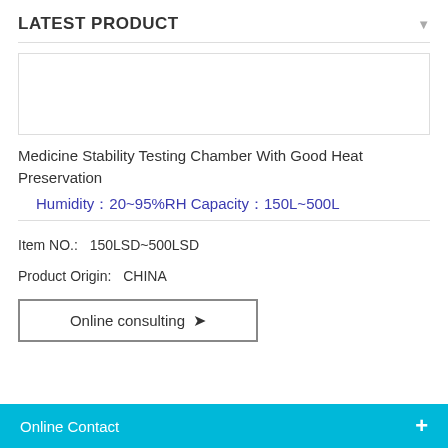LATEST PRODUCT
[Figure (photo): Product image placeholder box (empty white rectangle with border)]
Medicine Stability Testing Chamber With Good Heat Preservation
Humidity：20~95%RH Capacity：150L~500L
Item NO.:  150LSD~500LSD
Product Origin:  CHINA
Online consulting
Online Contact +